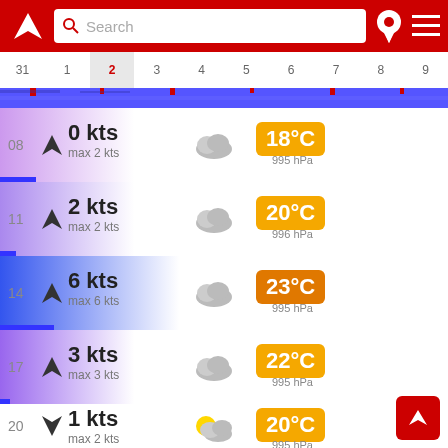Search bar with logo, pin, and menu icons
[Figure (other): Horizontal date calendar strip showing dates 31, 1, 2 (selected/today), 3, 4, 5, 6, 7, 8, 9]
[Figure (other): Blue wave/chart bar below calendar]
08  ▶ 0 kts  max 2 kts  [cloud icon]  18°C  995 hPa
11  ▶ 2 kts  max 2 kts  [cloud icon]  20°C  996 hPa
14  ▶ 6 kts  max 6 kts  [cloud icon]  23°C  995 hPa
17  ▶ 3 kts  max 3 kts  [cloud icon]  22°C  995 hPa
20  ▼ 1 kts  max 2 kts  [partly cloudy icon]  20°C  995 hPa